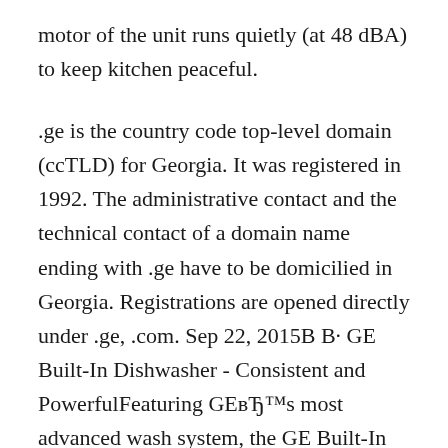motor of the unit runs quietly (at 48 dBA) to keep kitchen peaceful.
.ge is the country code top-level domain (ccTLD) for Georgia. It was registered in 1992. The administrative contact and the technical contact of a domain name ending with .ge have to be domicilied in Georgia. Registrations are opened directly under .ge, .com. Sep 22, 2015B B· GE Built-In Dishwasher - Consistent and PowerfulFeaturing GEвЂ™s most advanced wash system, the GE Built-In Dishwasher with front controls consistently cleans and dries dishes with 65% more wash power.(*Wash power delivered to each rack. Compared to previous GE models). Bottle jets clean hard-to-reach areas